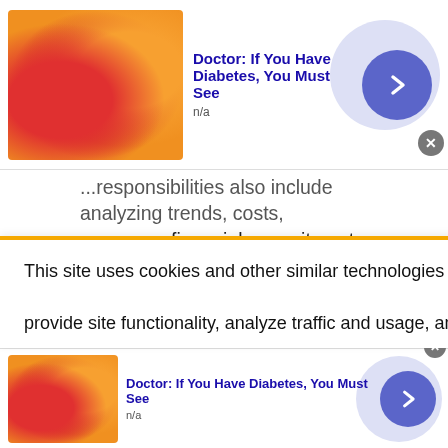[Figure (infographic): Top ad banner with food/candy image thumbnail on the left, bold blue title 'Doctor: If You Have Diabetes, You Must See', subtitle 'n/a', a blue circular arrow button, and a gray close X button on the right side with a light purple circle background.]
Responsibilities also include analyzing trends, costs, revenues, financial commitments, and obligations incurred to predict future revenues and expenses. Reports organization's finances to management, and offers suggestions about resource utilization, tax strategies, and assumptions underlying budget forecasts. May require a bachelor's degree in area of specialty and 2-4 ... more
WhatJobs - 8 days ago
Accountant II - Clinics
This site uses cookies and other similar technologies to provide site functionality, analyze traffic and usage, and
[Figure (infographic): Bottom ad banner with food/candy image thumbnail on the left, bold blue title 'Doctor: If You Have Diabetes, You Must See', subtitle 'n/a', a blue circular arrow button, and a gray close X button, with a light purple circle background on the right.]